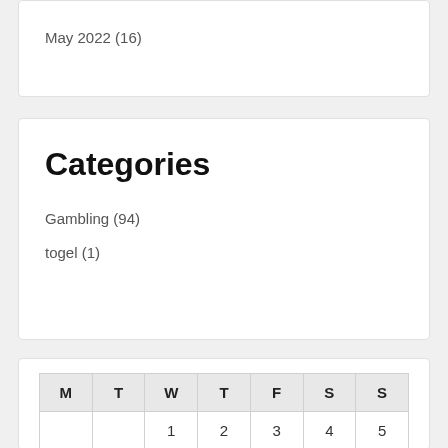May 2022 (16)
Categories
Gambling (94)
togel (1)
| M | T | W | T | F | S | S |
| --- | --- | --- | --- | --- | --- | --- |
|  |  | 1 | 2 | 3 | 4 | 5 |
| 6 | 7 | 8 | 9 | 10 | 11 | 12 |